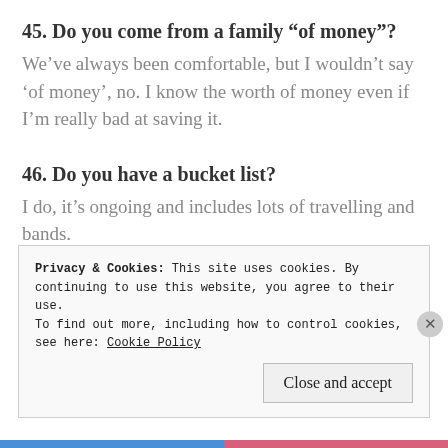45. Do you come from a family “of money”?
We’ve always been comfortable, but I wouldn’t say ‘of money’, no. I know the worth of money even if I’m really bad at saving it.
46. Do you have a bucket list?
I do, it’s ongoing and includes lots of travelling and bands.
47. What is your favourite series of books?
Skulduggery Pleasant, I think.
Privacy & Cookies: This site uses cookies. By continuing to use this website, you agree to their use.
To find out more, including how to control cookies, see here: Cookie Policy
Close and accept